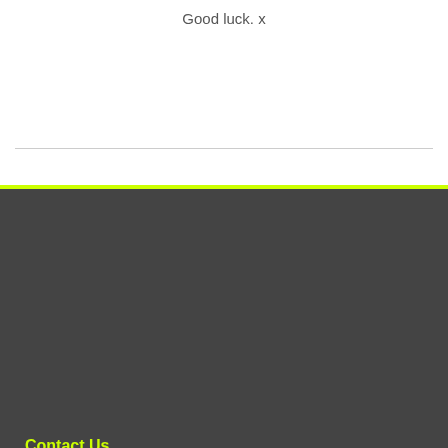Good luck. x
Contact Us
Mimbre Unit 4,
Energy Centre,
Bowling Green Walk,
London
N1 6AL
UK
Email: info@mimbre.co.uk